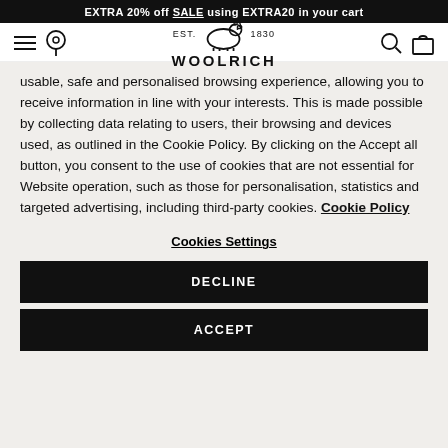EXTRA 20% off SALE using EXTRA20 in your cart
[Figure (logo): Woolrich brand logo with sheep icon, EST. 1830 text, and WOOLRICH wordmark]
usable, safe and personalised browsing experience, allowing you to receive information in line with your interests. This is made possible by collecting data relating to users, their browsing and devices used, as outlined in the Cookie Policy. By clicking on the Accept all button, you consent to the use of cookies that are not essential for Website operation, such as those for personalisation, statistics and targeted advertising, including third-party cookies. Cookie Policy
Cookies Settings
DECLINE
ACCEPT